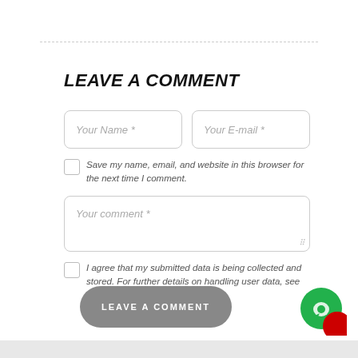LEAVE A COMMENT
Your Name *
Your E-mail *
Save my name, email, and website in this browser for the next time I comment.
Your comment *
I agree that my submitted data is being collected and stored. For further details on handling user data, see our Privacy Policy
LEAVE A COMMENT